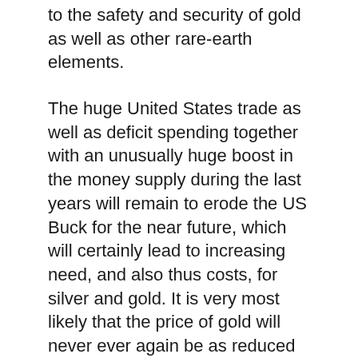to the safety and security of gold as well as other rare-earth elements.
The huge United States trade as well as deficit spending together with an unusually huge boost in the money supply during the last years will remain to erode the US Buck for the near future, which will certainly lead to increasing need, and also thus costs, for silver and gold. It is very most likely that the price of gold will never ever again be as reduced as it is today. Unlike paper currency and various other assets, gold has a background of holding its value, and also rising, throughout economic crises.
Why is Gold So Important in Diversification?